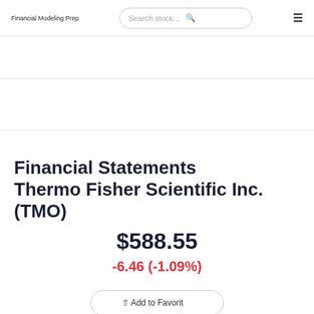Financial Modeling Prep
Financial Statements Thermo Fisher Scientific Inc. (TMO)
$588.55
-6.46 (-1.09%)
Add to Favorite